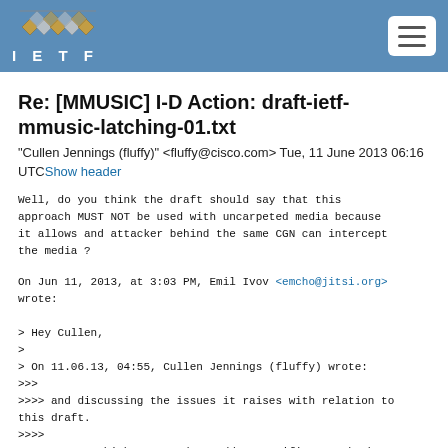IETF
Re: [MMUSIC] I-D Action: draft-ietf-mmusic-latching-01.txt
"Cullen Jennings (fluffy)" <fluffy@cisco.com> Tue, 11 June 2013 06:16 UTC Show header
Well, do you think the draft should say that this approach MUST NOT be used with uncarpeted media because it allows and attacker behind the same CGN can intercept the media ?
On Jun 11, 2013, at 3:03 PM, Emil Ivov <emcho@jitsi.org> wrote:
> Hey Cullen,
>
> On 11.06.13, 04:55, Cullen Jennings (fluffy) wrote:
>>>
>>>> and discussing the issues it raises with relation to this draft.
>>>>
>>>> Next I think you need to add a specific attack where